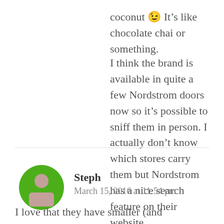coconut 😉 It’s like chocolate chai or something.
I think the brand is available in quite a few Nordstrom doors now so it’s possible to sniff them in person. I actually don’t know which stores carry them but Nordstrom has a nice search feature on their website.
[Figure (illustration): Green circular avatar with a generic pink/mauve person silhouette icon centered inside]
Steph
March 15, 2016 at 11:54 pm
I love that they have smaller (and cheaper!!!)